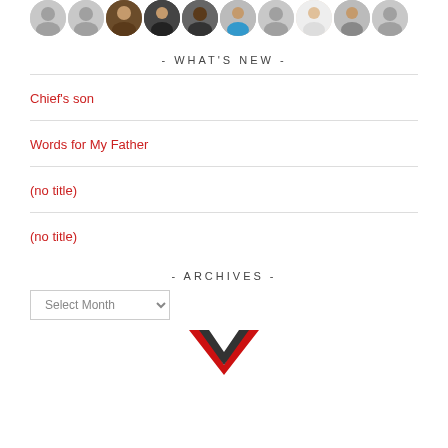[Figure (photo): Row of 10 circular avatar profile pictures at the top of the page]
- WHAT'S NEW -
Chief's son
Words for My Father
(no title)
(no title)
- ARCHIVES -
[Figure (screenshot): Select Month dropdown selector for archives]
[Figure (logo): Partial red and dark logo mark at the bottom center]